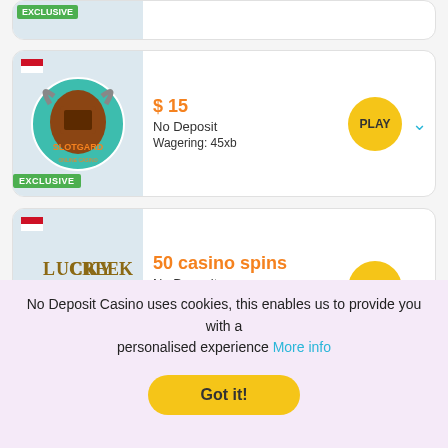[Figure (screenshot): Partially visible casino bonus card at top of page with EXCLUSIVE badge]
[Figure (screenshot): Slotgard casino bonus card showing $15 No Deposit bonus, Wagering 45xb, PLAY button, EXCLUSIVE badge, Indonesian flag]
[Figure (screenshot): Lucky Creek casino bonus card showing 50 casino spins No Deposit, Code LCBGWB, Wagering 60xb, PLAY button, Indonesian flag]
[Figure (screenshot): Partially visible casino bonus card showing $10 No Deposit with PLAY button]
No Deposit Casino uses cookies, this enables us to provide you with a personalised experience More info
Got it!